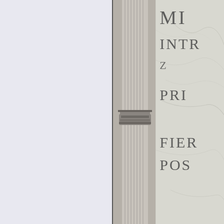[Figure (photo): Split image: left half is a plain light blue-gray panel; a thin vertical dark divider separates it from the right half, which shows a photograph of a marble memorial or monument wall with carved letters partially visible (MI, INTR, PR, FIER, POS) alongside a stone architectural column with decorative moldings.]